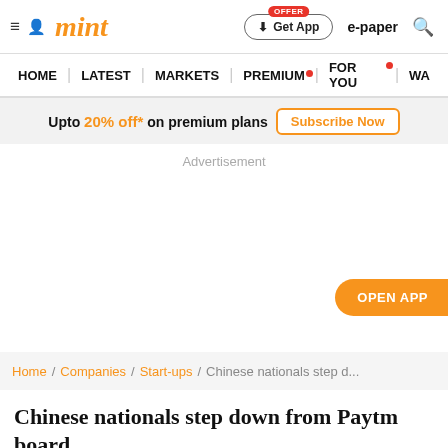mint | Get App | e-paper
HOME | LATEST | MARKETS | PREMIUM | FOR YOU | WA
Upto 20% off* on premium plans  Subscribe Now
Advertisement
OPEN APP
Home / Companies / Start-ups / Chinese nationals step d...
Chinese nationals step down from Paytm board